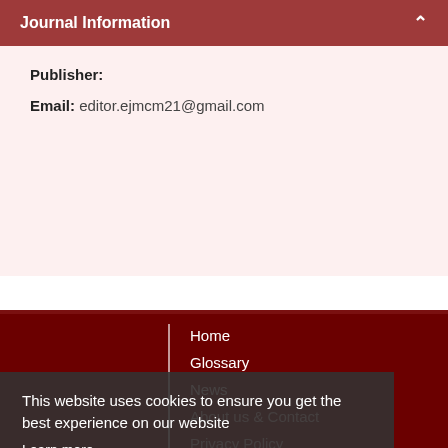Journal Information
Publisher:
Email: editor.ejmcm21@gmail.com
Home
Glossary
News
About us & Contact
Privacy Policy
Sitemap
This website uses cookies to ensure you get the best experience on our website
Learn more
Got it!
For Special Issue Proposal: editor.ejmcm21@gmail.com